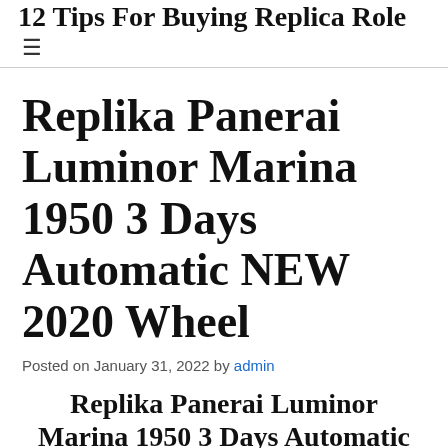12 Tips For Buying Replica Rolex…
Replika Panerai Luminor Marina 1950 3 Days Automatic NEW 2020 Wheel
Posted on January 31, 2022 by admin
Replika Panerai Luminor Marina 1950 3 Days Automatic NEW 2020 Wheel
This design means motivating its copy it. This practice is a…